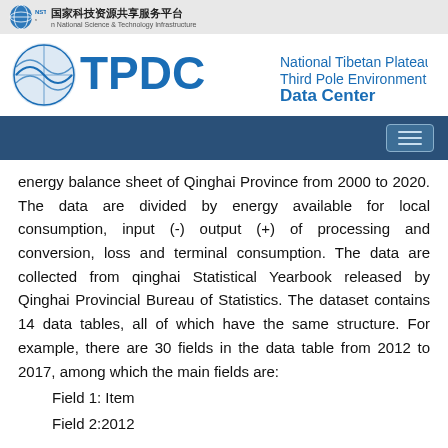国家科技资源共享服务平台 National Science & Technology Infrastructure
[Figure (logo): TPDC National Tibetan Plateau Third Pole Environment Data Center logo]
energy balance sheet of Qinghai Province from 2000 to 2020. The data are divided by energy available for local consumption, input (-) output (+) of processing and conversion, loss and terminal consumption. The data are collected from qinghai Statistical Yearbook released by Qinghai Provincial Bureau of Statistics. The dataset contains 14 data tables, all of which have the same structure. For example, there are 30 fields in the data table from 2012 to 2017, among which the main fields are:
Field 1: Item
Field 2:2012